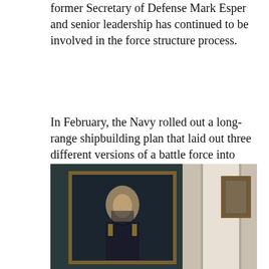former Secretary of Defense Mark Esper and senior leadership has continued to be involved in the force structure process.
In February, the Navy rolled out a long-range shipbuilding plan that laid out three different versions of a battle force into 2052, depending on the number of resources the service is allocated. The first option would yield an inventory of 316 ships by FY 2052, the second would yield 327 ships by FY 2052 and the third would yield 367 ships.
[Figure (photo): A photograph showing a hallway or room interior with a framed portrait painting of a military officer on the left wall, a white door frame in the center, and a smaller framed picture on the right wall. The walls are a neutral beige color.]